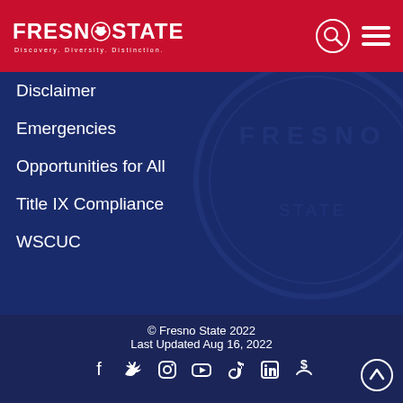FRESNO STATE — Discovery. Diversity. Distinction.
Disclaimer
Emergencies
Opportunities for All
Title IX Compliance
WSCUC
© Fresno State 2022
Last Updated Aug 16, 2022